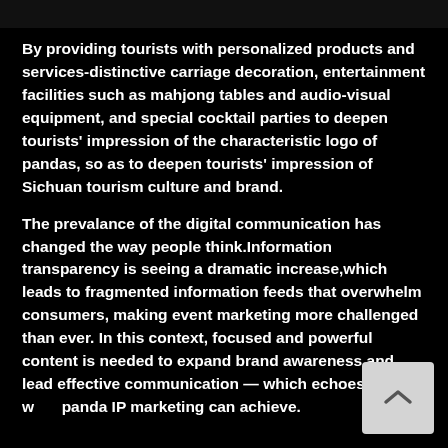[Figure (photo): Dark image strip at the top of the page, appears to be a cropped photograph with dark/black tones]
By providing tourists with personalized products and services-distinctive carriage decoration, entertainment facilities such as mahjong tables and audio-visual equipment, and special cocktail parties to deepen tourists' impression of the characteristic logo of pandas, so as to deepen tourists' impression of Sichuan tourism culture and brand.
The prevalance of the digital communication has changed the way people think.Information transparency is seeing a dramatic increase,which leads to fragmented information feeds that overwhelm consumers, making event marketing more challenged than ever. In this context, focused and powerful content is needed to expand brand awareness and lead effective communication — which echoes with what panda IP marketing can achieve.